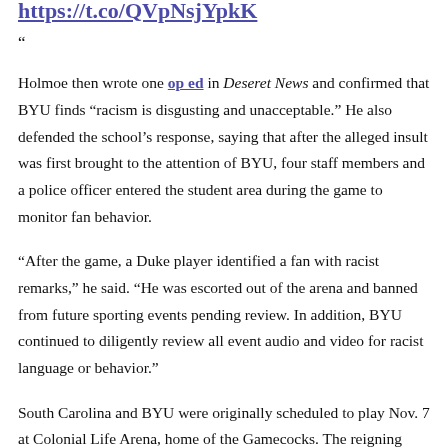know that the insults were racist. This was a mistake by the BYU athletic director. https://t.co/QVpNsjYpkK
"
Holmoe then wrote one op ed in Deseret News and confirmed that BYU finds "racism is disgusting and unacceptable." He also defended the school's response, saying that after the alleged insult was first brought to the attention of BYU, four staff members and a police officer entered the student area during the game to monitor fan behavior.
"After the game, a Duke player identified a fan with racist remarks," he said. "He was escorted out of the arena and banned from future sporting events pending review. In addition, BYU continued to diligently review all event audio and video for racist language or behavior."
South Carolina and BYU were originally scheduled to play Nov. 7 at Colonial Life Arena, home of the Gamecocks. The reigning national champion has yet